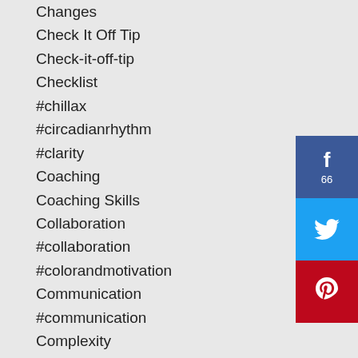Changes
Check It Off Tip
Check-it-off-tip
Checklist
#chillax
#circadianrhythm
#clarity
Coaching
Coaching Skills
Collaboration
#collaboration
#colorandmotivation
Communication
#communication
Complexity
#complexity
#conditions
#conenctionmeanstome
Conflict
[Figure (infographic): Social share buttons: Facebook (66 shares), Twitter, Pinterest]